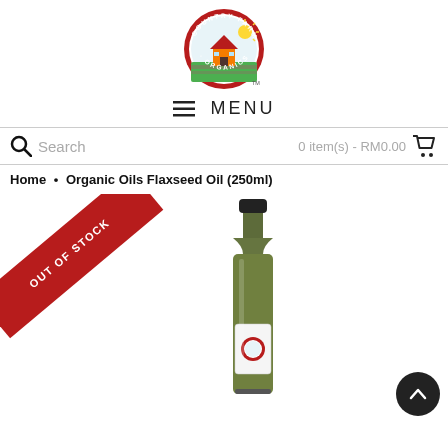[Figure (logo): Country Farm Organics circular logo with red border, farm house, sun, and green fields. TM mark below right.]
≡  MENU
Search   0 item(s) - RM0.00 🛒
Home • Organic Oils Flaxseed Oil (250ml)
[Figure (photo): Product photo of a small dark glass bottle of Flaxseed Oil (250ml) with Country Farm Organics label. An 'OUT OF STOCK' red diagonal banner overlaid in top-left corner. A scroll-to-top button (dark circle with up arrow) in bottom-right.]